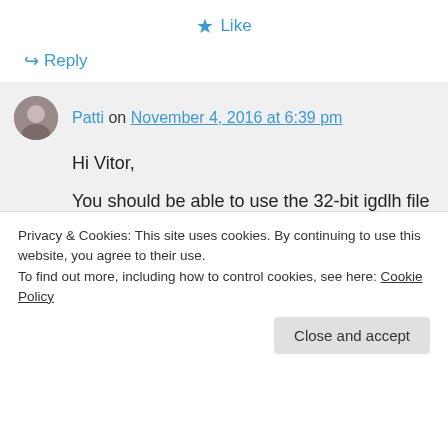★ Like
↪ Reply
Patti on November 4, 2016 at 6:39 pm
Hi Vitor,
You should be able to use the 32-bit igdlh file for your specific graphics chip the same way as 64-bit.
Privacy & Cookies: This site uses cookies. By continuing to use this website, you agree to their use.
To find out more, including how to control cookies, see here: Cookie Policy
Close and accept
of the lines in the driver file. If you let